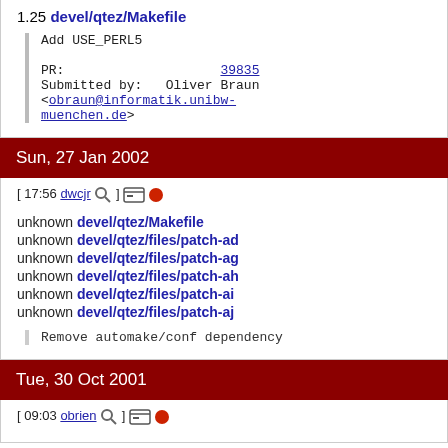1.25 devel/qtez/Makefile
Add USE_PERL5

PR: 39835
Submitted by: Oliver Braun <obraun@informatik.unibw-muenchen.de>
Sun, 27 Jan 2002
[ 17:56 dwcjr ] [icons]
unknown devel/qtez/Makefile
unknown devel/qtez/files/patch-ad
unknown devel/qtez/files/patch-ag
unknown devel/qtez/files/patch-ah
unknown devel/qtez/files/patch-ai
unknown devel/qtez/files/patch-aj
Remove automake/conf dependency
Tue, 30 Oct 2001
[ 09:03 obrien ] [icons]